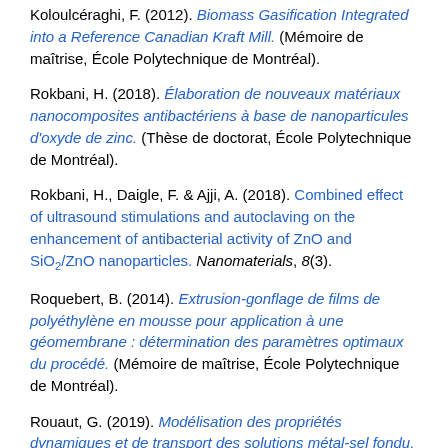Koloulcéraghi, F. (2012). Biomass Gasification Integrated into a Reference Canadian Kraft Mill. (Mémoire de maîtrise, École Polytechnique de Montréal).
Rokbani, H. (2018). Élaboration de nouveaux matériaux nanocomposites antibactériens à base de nanoparticules d'oxyde de zinc. (Thèse de doctorat, École Polytechnique de Montréal).
Rokbani, H., Daigle, F. & Ajji, A. (2018). Combined effect of ultrasound stimulations and autoclaving on the enhancement of antibacterial activity of ZnO and SiO₂/ZnO nanoparticles. Nanomaterials, 8(3).
Roquebert, B. (2014). Extrusion-gonflage de films de polyéthylène en mousse pour application à une géomembrane : détermination des paramètres optimaux du procédé. (Mémoire de maîtrise, École Polytechnique de Montréal).
Rouaut, G. (2019). Modélisation des propriétés dynamiques et de transport des solutions métal-sel fondu. Application à la conductivité électronique des bains cryolithiques pour le procédé Hall-Héroult. (Mémoire de maîtrise, Polytechnique Montréal).
Roy, G. (2005). Modélisation technique et économique d'un réacteur de bioséchage discontinu.